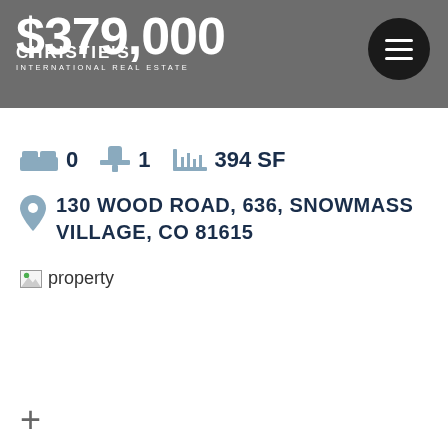$379,000 — Christie's International Real Estate
0 bedrooms  1 bathroom  394 SF
130 WOOD ROAD, 636, SNOWMASS VILLAGE, CO 81615
[Figure (photo): Property image placeholder labeled 'property']